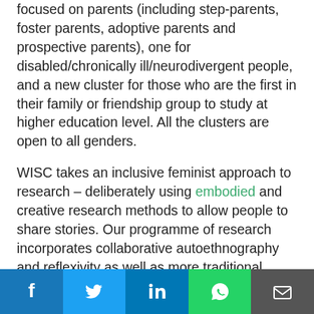focused on parents (including step-parents, foster parents, adoptive parents and prospective parents), one for disabled/chronically ill/neurodivergent people, and a new cluster for those who are the first in their family or friendship group to study at higher education level. All the clusters are open to all genders.
WISC takes an inclusive feminist approach to research – deliberately using embodied and creative research methods to allow people to share stories. Our programme of research incorporates collaborative autoethnography and reflexivity as well as more traditional qualitative online surveys. Our research spanned the initial global lockdowns in 2020–21, and so we were able to record lived experiences of lab researchers
[Figure (infographic): Social media sharing bar with icons for Facebook, Twitter, LinkedIn, WhatsApp, and Email]